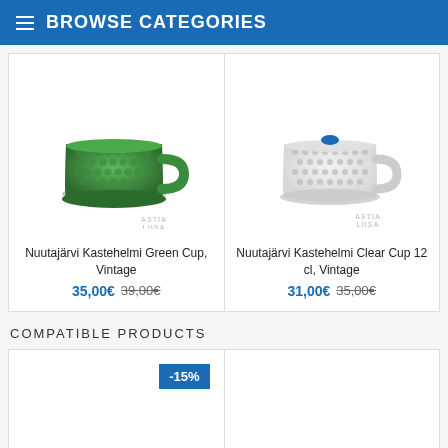BROWSE CATEGORIES
[Figure (photo): Green textured glass mug (Nuutajärvi Kastehelmi Green Cup, Vintage) with watermark 'ASTIA LIISA']
Nuutajärvi Kastehelmi Green Cup, Vintage
35,00€ 39,00€
[Figure (photo): Clear textured glass mug (Nuutajärvi Kastehelmi Clear Cup 12 cl, Vintage) with blue label and watermark 'ASTIA LIISA']
Nuutajärvi Kastehelmi Clear Cup 12 cl, Vintage
31,00€ 35,00€
COMPATIBLE PRODUCTS
[Figure (photo): Product card with -15% discount badge]
[Figure (photo): Empty product card (second compatible product)]